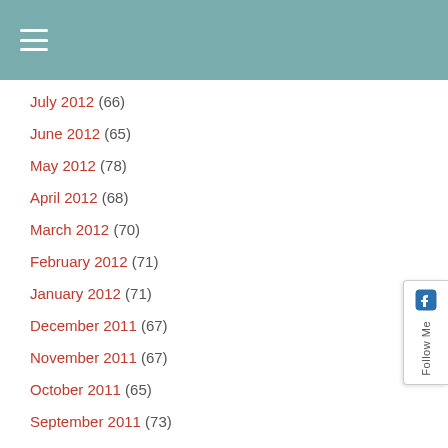≡
July 2012 (66)
June 2012 (65)
May 2012 (78)
April 2012 (68)
March 2012 (70)
February 2012 (71)
January 2012 (71)
December 2011 (67)
November 2011 (67)
October 2011 (65)
September 2011 (73)
August 2011 (74)
July 2011 (73)
June 2011 (74)